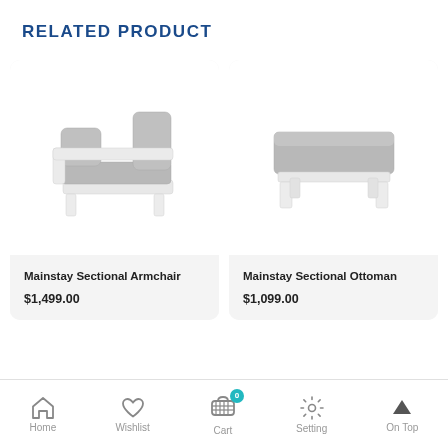RELATED PRODUCT
[Figure (photo): Mainstay Sectional Armchair — white frame corner sectional sofa with grey cushions, photographed on white background]
Mainstay Sectional Armchair
$1,499.00
[Figure (photo): Mainstay Sectional Ottoman — white frame ottoman with grey cushion, photographed on white background]
Mainstay Sectional Ottoman
$1,099.00
Home  Wishlist  Cart  Setting  On Top